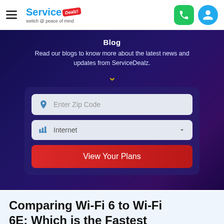[Figure (screenshot): ServiceDealz website header with hamburger menu, logo with 'Service Dealz' text and tagline 'switch @ peace of mind', green phone button and blue user icon on the right]
Blog
Read our blogs to know more about the latest news and updates from ServiceDealz.
[Figure (screenshot): Zip code search form with 'Enter Zip Code' text input, 'Internet' dropdown selector, and 'View Your Plans' red button]
Comparing Wi-Fi 6 to Wi-Fi 6E: Which is the Fastest